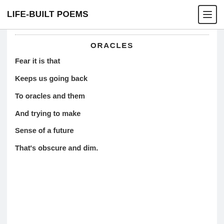LIFE-BUILT POEMS
ORACLES
Fear it is that
Keeps us going back
To oracles and them
And trying to make
Sense of a future
That's obscure and dim.